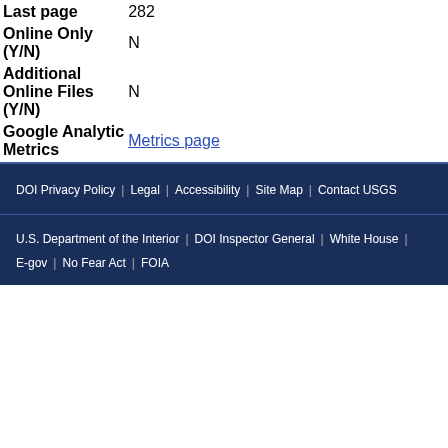| Field | Value |
| --- | --- |
| Last page | 282 |
| Online Only (Y/N) | N |
| Additional Online Files (Y/N) | N |
| Google Analytic Metrics | Metrics page |
DOI Privacy Policy | Legal | Accessibility | Site Map | Contact USGS
U.S. Department of the Interior | DOI Inspector General | White House | E-gov | No Fear Act | FOIA